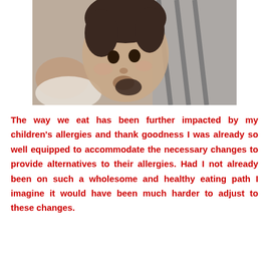[Figure (photo): A young toddler with dark hair being held by an adult wearing a grey strappy top. The baby appears to be looking at the camera.]
The way we eat has been further impacted by my children's allergies and thank goodness I was already so well equipped to accommodate the necessary changes to provide alternatives to their allergies. Had I not already been on such a wholesome and healthy eating path I imagine it would have been much harder to adjust to these changes.